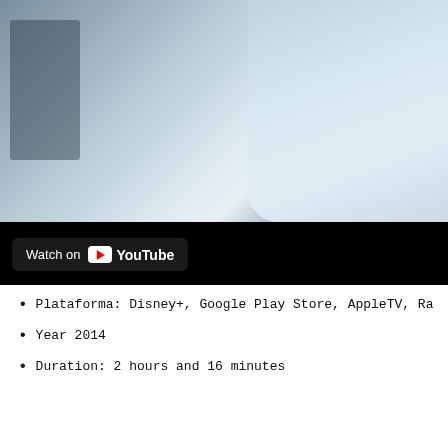[Figure (screenshot): YouTube video thumbnail showing a blurred close-up image with dark and light grey tones, with a black bar at the bottom containing a 'Watch on YouTube' badge]
Plataforma: Disney+, Google Play Store, AppleTV, Ra...
Year 2014
Duration: 2 hours and 16 minutes